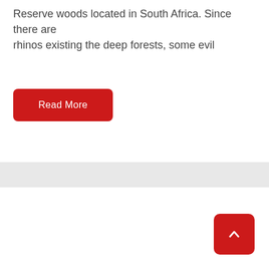Reserve woods located in South Africa. Since there are rhinos existing the deep forests, some evil
Read More
[Figure (other): Light gray horizontal divider bar]
[Figure (other): Red rounded square scroll-to-top button with upward arrow icon in bottom right corner]